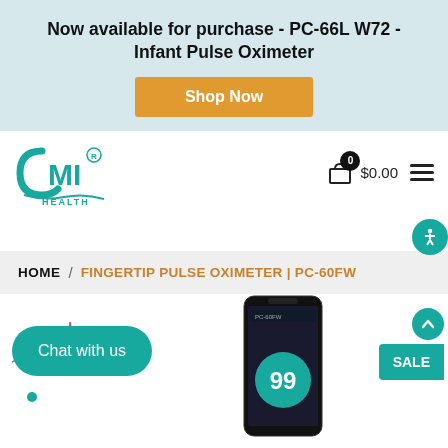Now available for purchase - PC-66L W72 - Infant Pulse Oximeter
Shop Now
[Figure (logo): CMI Health logo in teal/green color with registered trademark symbol]
0  $0.00
HOME / FINGERTIP PULSE OXIMETER | PC-60FW
Chat with us
[Figure (screenshot): Mobile phone showing pulse oximeter app with reading 99]
SALE